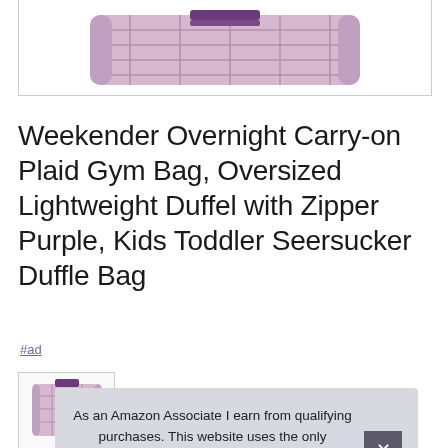[Figure (photo): Partial product image of a purple plaid weekender duffel bag on white background, cropped at top]
Weekender Overnight Carry-on Plaid Gym Bag, Oversized Lightweight Duffel with Zipper Purple, Kids Toddler Seersucker Duffle Bag
#ad
[Figure (photo): Small thumbnail of purple plaid duffel bag]
As an Amazon Associate I earn from qualifying purchases. This website uses the only necessary cookies to ensure you get the best experience on our website. More information